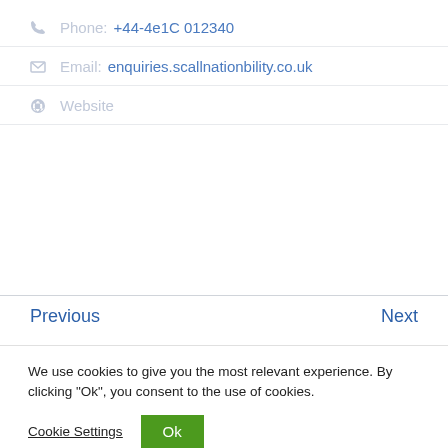Phone: +44-4e1C 012340
Email: enquiries.scallnationbility.co.uk
Website
Previous
Next
We use cookies to give you the most relevant experience. By clicking "Ok", you consent to the use of cookies.
Cookie Settings
Ok